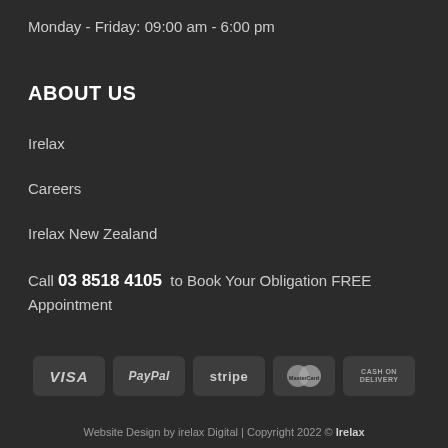Monday - Friday: 09:00 am - 6:00 pm
ABOUT US
Irelax
Careers
Irelax New Zealand
Call 03 8518 4105 to Book Your Obligation FREE Appointment
[Figure (infographic): Payment method badges: VISA, PayPal, stripe, MasterCard, CASH ON DELIVERY]
Website Design by irelax Digital | Copyright 2022 © Irelax